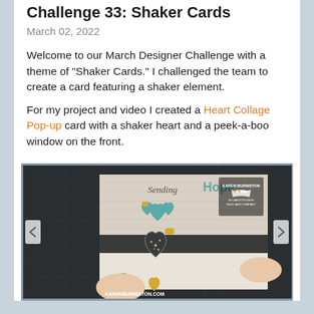Challenge 33: Shaker Cards
March 02, 2022
Welcome to our March Designer Challenge with a theme of "Shaker Cards." I challenged the team to create a card featuring a shaker element.
For my project and video I created a Heart Collage Pop-up card with a shaker heart and a peek-a-boo window on the front.
[Figure (photo): Photo of hands holding a heart collage pop-up card with shaker elements, teal hearts, butterfly accents, and glitter. Card reads 'Sending Hope'. Karen Burniston branding visible. Website karenburniston.com shown at bottom.]